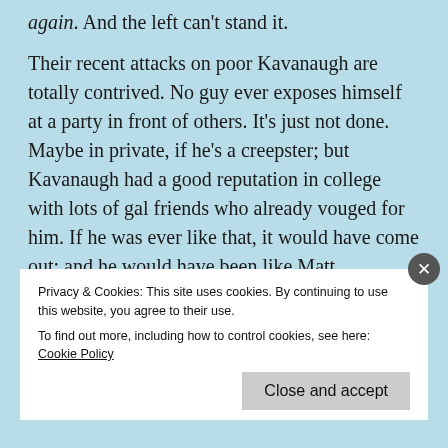again.  And the left can't stand it.
Their recent attacks on poor Kavanaugh are totally contrived.  No guy ever exposes himself at a party in front of others.  It's just not done.  Maybe in private, if he's a creepster; but Kavanaugh had a good reputation in college with lots of gal friends who already vouged for him.  If he was ever like that, it would have come out; and he would have been like Matt
Privacy & Cookies: This site uses cookies. By continuing to use this website, you agree to their use.
To find out more, including how to control cookies, see here: Cookie Policy
Close and accept